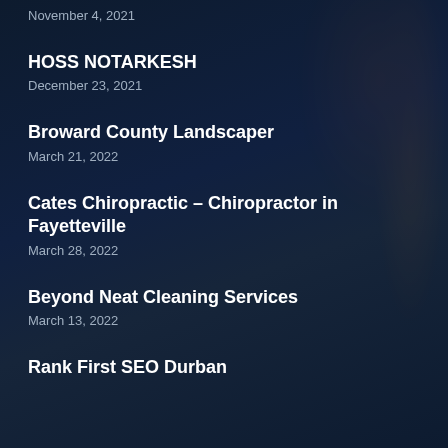November 4, 2021
HOSS NOTARKESH
December 23, 2021
Broward County Landscaper
March 21, 2022
Cates Chiropractic – Chiropractor in Fayetteville
March 28, 2022
Beyond Neat Cleaning Services
March 13, 2022
Rank First SEO Durban